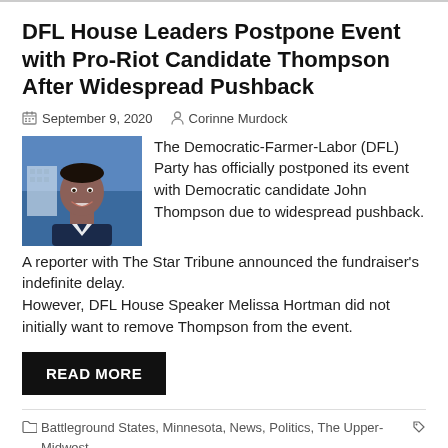DFL House Leaders Postpone Event with Pro-Riot Candidate Thompson After Widespread Pushback
September 9, 2020   Corinne Murdock
[Figure (photo): Headshot of a man smiling, with a building in background]
The Democratic-Farmer-Labor (DFL) Party has officially postponed its event with Democratic candidate John Thompson due to widespread pushback. A reporter with The Star Tribune announced the fundraiser's indefinite delay. However, DFL House Speaker Melissa Hortman did not initially want to remove Thompson from the event.
READ MORE
Battleground States, Minnesota, News, Politics, The Upper-Midwest   Black Lives Matter, BLM, Bob Kroll, Democratic Farmer Labor Party, DFL, DFL House, DFL House Speaker, John Thompson, Liz Collins, Melissa Hortman,